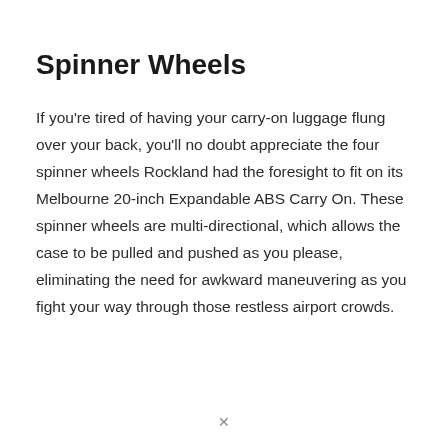Spinner Wheels
If you're tired of having your carry-on luggage flung over your back, you'll no doubt appreciate the four spinner wheels Rockland had the foresight to fit on its Melbourne 20-inch Expandable ABS Carry On. These spinner wheels are multi-directional, which allows the case to be pulled and pushed as you please, eliminating the need for awkward maneuvering as you fight your way through those restless airport crowds.